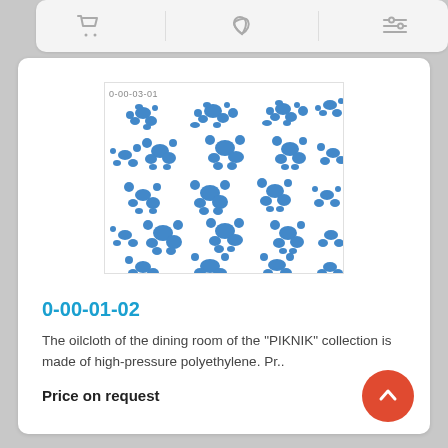[Figure (other): Navigation bar with shopping cart icon, heart/favorite icon, and filter/sliders icon]
[Figure (photo): Oilcloth fabric with blue floral pattern on white background, timestamp watermark '0-00-03-01' visible in top left]
0-00-01-02
The oilcloth of the dining room of the "PIKNIK" collection is made of high-pressure polyethylene. Pr..
Price on request